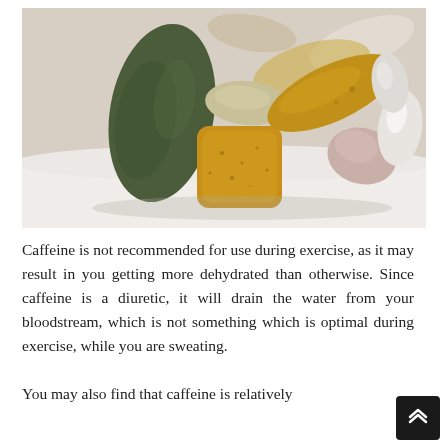[Figure (photo): Close-up photograph of various supplement/vitamin tablets and pills: a large dark green oval tablet leaning against a square yellow-orange tablet and a smaller beige oval tablet, with white oval-shaped capsules and other pills in the background on a white surface.]
Caffeine is not recommended for use during exercise, as it may result in you getting more dehydrated than otherwise. Since caffeine is a diuretic, it will drain the water from your bloodstream, which is not something which is optimal during exercise, while you are sweating.
You may also find that caffeine is relatively